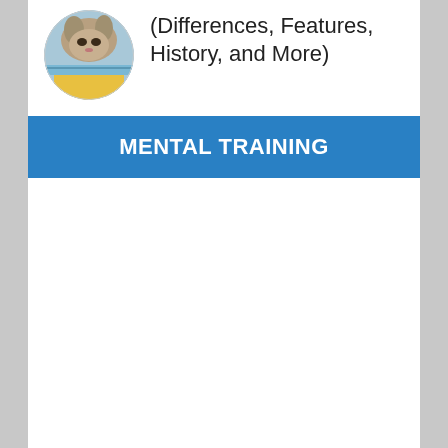[Figure (photo): A circular cropped photo of a dog or cat with a blue and yellow background]
(Differences, Features, History, and More)
MENTAL TRAINING